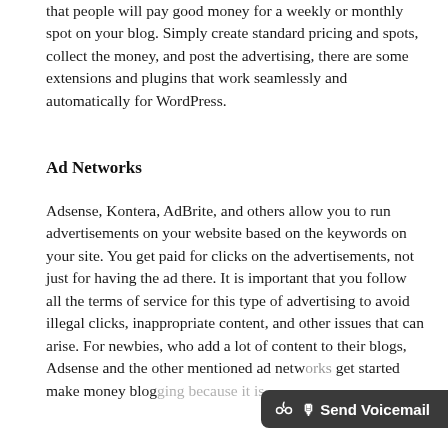that people will pay good money for a weekly or monthly spot on your blog. Simply create standard pricing and spots, collect the money, and post the advertising, there are some extensions and plugins that work seamlessly and automatically for WordPress.
Ad Networks
Adsense, Kontera, AdBrite, and others allow you to run advertisements on your website based on the keywords on your site. You get paid for clicks on the advertisements, not just for having the ad there. It is important that you follow all the terms of service for this type of advertising to avoid illegal clicks, inappropriate content, and other issues that can arise. For newbies, who add a lot of content to their blogs, Adsense and the other mentioned ad netw… get started make money blog… because it is
[Figure (other): Send Voicemail button overlay in bottom right corner]